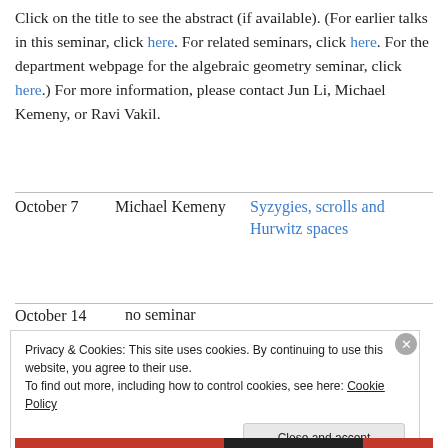Click on the title to see the abstract (if available). (For earlier talks in this seminar, click here. For related seminars, click here. For the department webpage for the algebraic geometry seminar, click here.) For more information, please contact Jun Li, Michael Kemeny, or Ravi Vakil.
| Date | Speaker | Title |
| --- | --- | --- |
| October 7 | Michael Kemeny | Syzygies, scrolls and Hurwitz spaces |
| October 14 | no seminar |  |
Privacy & Cookies: This site uses cookies. By continuing to use this website, you agree to their use. To find out more, including how to control cookies, see here: Cookie Policy
Close and accept